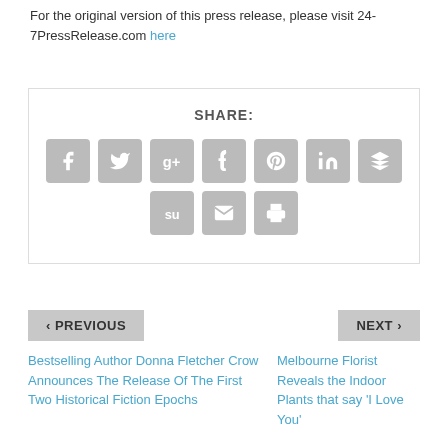For the original version of this press release, please visit 24-7PressRelease.com here
[Figure (infographic): Social media share buttons row: Facebook, Twitter, Google+, Tumblr, Pinterest, LinkedIn, Buffer icons; second row: StumbleUpon, email/envelope, print icons. All icons are grey square buttons with white symbols.]
SHARE:
< PREVIOUS
NEXT >
Bestselling Author Donna Fletcher Crow Announces The Release Of The First Two Historical Fiction Epochs
Melbourne Florist Reveals the Indoor Plants that say 'I Love You'